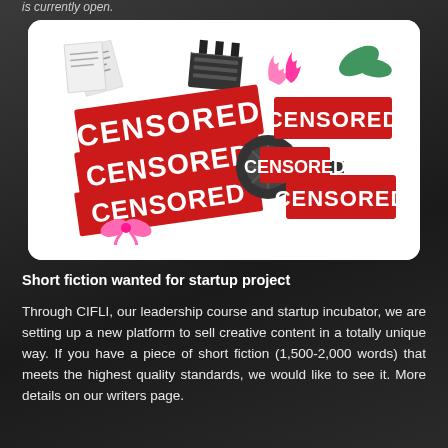is currently open.
[Figure (illustration): A decorative image on white rounded-corner card showing multiple red stamp-style 'CENSORED' text banners in varying sizes and angles, with film reel, paper documents, and decorative flourishes around them.]
Short fiction wanted for startup project
Through CIFLI, our leadership course and startup incubator, we are setting up a new platform to sell creative content in a totally unique way. If you have a piece of short fiction (1,500-2,000 words) that meets the highest quality standards, we would like to see it. More details on our writers page.